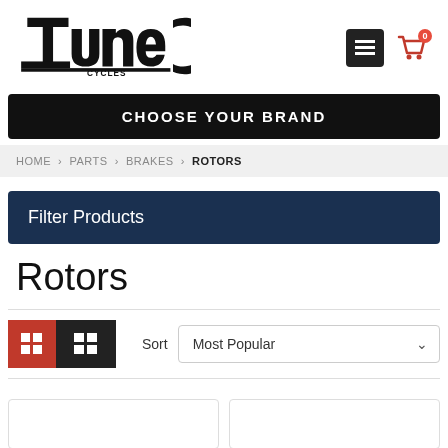[Figure (logo): TuneC Cycles logo with wrench motif in black]
[Figure (other): Navigation icons: hamburger menu button (dark square) and red shopping cart icon with badge showing 0]
CHOOSE YOUR BRAND
HOME › PARTS › BRAKES › ROTORS
Filter Products
Rotors
Sort   Most Popular